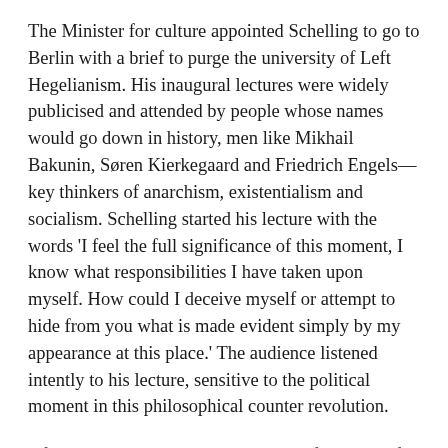The Minister for culture appointed Schelling to go to Berlin with a brief to purge the university of Left Hegelianism. His inaugural lectures were widely publicised and attended by people whose names would go down in history, men like Mikhail Bakunin, Søren Kierkegaard and Friedrich Engels—key thinkers of anarchism, existentialism and socialism. Schelling started his lecture with the words 'I feel the full significance of this moment, I know what responsibilities I have taken upon myself. How could I deceive myself or attempt to hide from you what is made evident simply by my appearance at this place.' The audience listened intently to his lecture, sensitive to the political moment in this philosophical counter revolution.
Afterwards, Engels wrote in a report of the event for a Hamburg newspaper; 'If you ask any man in Berlin who has any idea at all about the power of